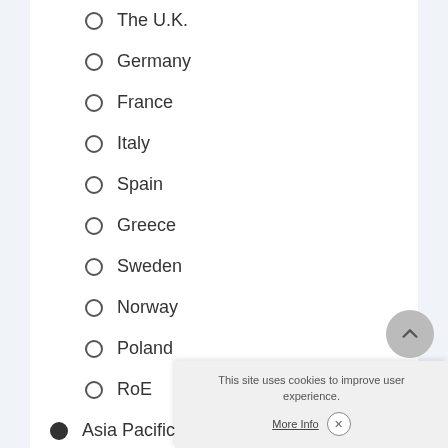The U.K.
Germany
France
Italy
Spain
Greece
Sweden
Norway
Poland
RoE
Asia Pacific
Japan
China